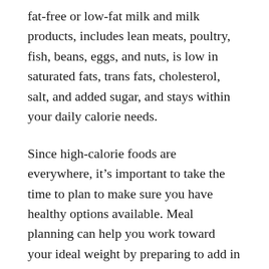fat-free or low-fat milk and milk products, includes lean meats, poultry, fish, beans, eggs, and nuts, is low in saturated fats, trans fats, cholesterol, salt, and added sugar, and stays within your daily calorie needs.
Since high-calorie foods are everywhere, it’s important to take the time to plan to make sure you have healthy options available. Meal planning can help you work toward your ideal weight by preparing to add in plenty of healthy ingredients to fuel your body each day.
Regular physical activity is important for overall well-being and is especially important if you are trying to lose weight, or to maintain a healthy